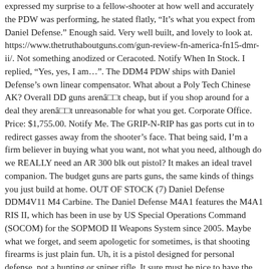expressed my surprise to a fellow-shooter at how well and accurately the PDW was performing, he stated flatly, "It's what you expect from Daniel Defense." Enough said. Very well built, and lovely to look at. https://www.thetruthaboutguns.com/gun-review-fn-america-fn15-dmr-ii/. Not something anodized or Ceracoted. Notify When In Stock. I replied, "Yes, yes, I am...". The DDM4 PDW ships with Daniel Defense's own linear compensator. What about a Poly Tech Chinese AK? Overall DD guns arenâ□□t cheap, but if you shop around for a deal they arenâ□□t unreasonable for what you get. Corporate Office. Price: $1,755.00. Notify Me. The GRIP-N-RIP has gas ports cut in to redirect gasses away from the shooter’s face. That being said, I'm a firm believer in buying what you want, not what you need, although do we REALLY need an AR 300 blk out pistol? It makes an ideal travel companion. The budget guns are parts guns, the same kinds of things you just build at home. OUT OF STOCK (7) Daniel Defense DDM4V11 M4 Carbine. The Daniel Defense M4A1 features the M4A1 RIS II, which has been in use by US Special Operations Command (SOCOM) for the SOPMOD II Weapons System since 2005. Maybe what we forget, and seem apologetic for sometimes, is that shooting firearms is just plain fun. Uh, it is a pistol designed for personal defense, not a hunting or sniper rifle. It sure must be nice to have the land for a range like that....